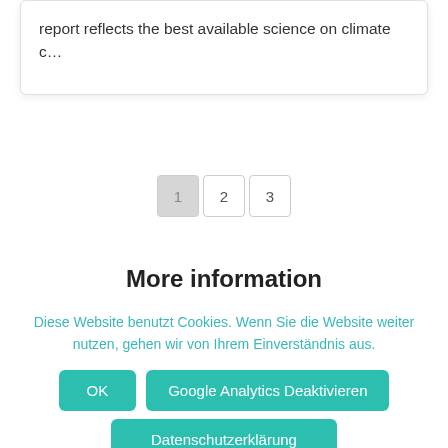report reflects the best available science on climate c…
1  2  3
More information
Diese Website benutzt Cookies. Wenn Sie die Website weiter nutzen, gehen wir von Ihrem Einverständnis aus.
OK
Google Analytics Deaktivieren
Datenschutzerklärung